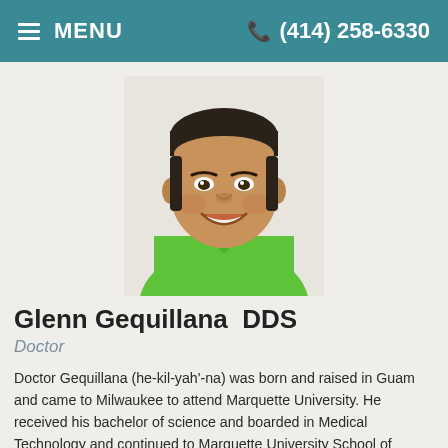MENU  (414) 258-6330
[Figure (photo): Headshot photo of Dr. Glenn Gequillana, a man smiling, wearing a bright green polo shirt, against a light background]
Glenn Gequillana  DDS
Doctor
Doctor Gequillana (he-kil-yah'-na) was born and raised in Guam and came to Milwaukee to attend Marquette University. He received his bachelor of science and boarded in Medical Technology and continued to Marquette University School of Dentistry where he received his doctorate of dental surgery in 1996.
Read More